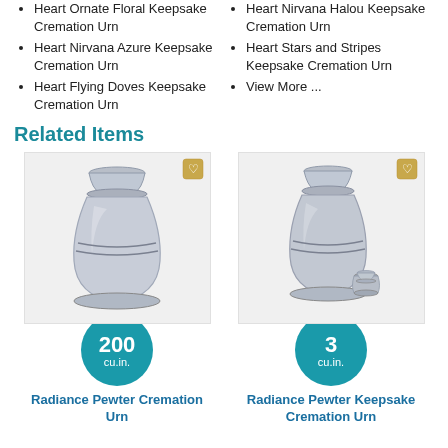Heart Ornate Floral Keepsake Cremation Urn
Heart Nirvana Azure Keepsake Cremation Urn
Heart Flying Doves Keepsake Cremation Urn
Heart Nirvana Halou Keepsake Cremation Urn
Heart Stars and Stripes Keepsake Cremation Urn
View More ...
Related Items
[Figure (photo): Radiance Pewter Cremation Urn - silver metallic urn with banded detail, 200 cu.in.]
[Figure (photo): Radiance Pewter Keepsake Cremation Urn - silver metallic urn with small keepsake beside it, 3 cu.in.]
Radiance Pewter Cremation Urn
Radiance Pewter Keepsake Cremation Urn